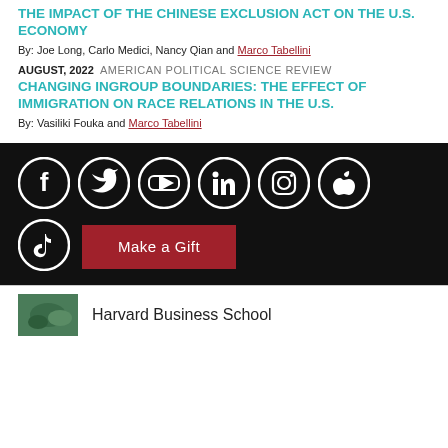THE IMPACT OF THE CHINESE EXCLUSION ACT ON THE U.S. ECONOMY
By: Joe Long, Carlo Medici, Nancy Qian and Marco Tabellini
AUGUST, 2022  AMERICAN POLITICAL SCIENCE REVIEW
CHANGING INGROUP BOUNDARIES: THE EFFECT OF IMMIGRATION ON RACE RELATIONS IN THE U.S.
By: Vasiliki Fouka and Marco Tabellini
[Figure (infographic): Social media icons in white on black background: Facebook, Twitter, YouTube, LinkedIn, Instagram, Apple, TikTok]
[Figure (other): Dark red Make a Gift button]
Harvard Business School
[Figure (photo): Small green Harvard Business School thumbnail image]